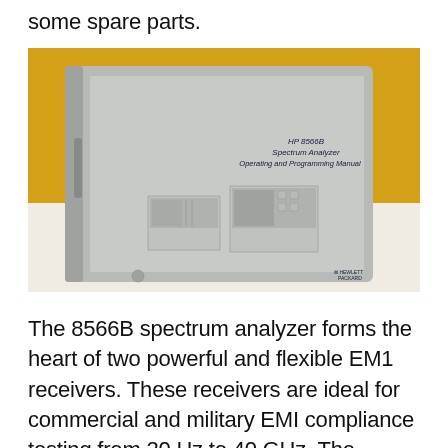some spare parts.
[Figure (photo): Photo of the HP 8566B Spectrum Analyzer Operating and Programming Manual binder, gray cover with illustration of the instrument, placed against a yellow/orange background on a white surface. The binder shows 'HP 8566B Spectrum Analyzer Operating and Programming Manual' text and a Hewlett-Packard logo.]
The 8566B spectrum analyzer forms the heart of two powerful and flexible EM1 receivers. These receivers are ideal for commercial and military EMI compliance testing from 20 Hz to 40 GHz. The